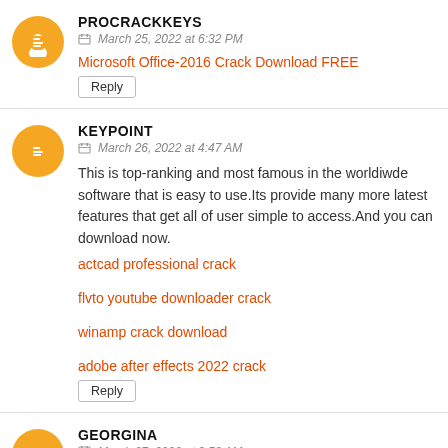PROCRACKKEYS
March 25, 2022 at 6:32 PM
Microsoft Office-2016 Crack Download FREE
Reply
KEYPOINT
March 26, 2022 at 4:47 AM
This is top-ranking and most famous in the worldiwde software that is easy to use.Its provide many more latest features that get all of user simple to access.And you can download now.
actcad professional crack
flvto youtube downloader crack
winamp crack download
adobe after effects 2022 crack
Reply
GEORGINA
March 27, 2022 at 9:58 AM